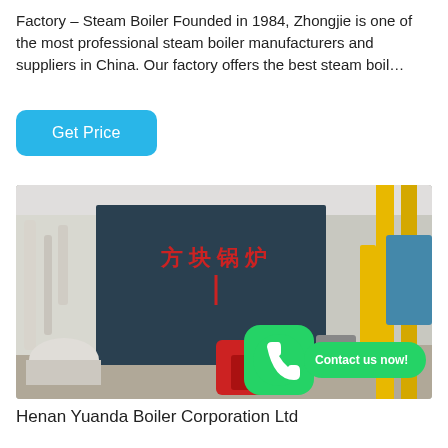Factory – Steam Boiler Founded in 1984, Zhongjie is one of the most professional steam boiler manufacturers and suppliers in China. Our factory offers the best steam boil…
Get Price
[Figure (photo): Industrial steam boiler in a factory setting with Chinese text '方块锅炉' (block boiler) in red on the dark body. Yellow pipes on the right, white pipes on the left. WhatsApp icon and 'Contact us now!' button overlaid.]
Henan Yuanda Boiler Corporation Ltd